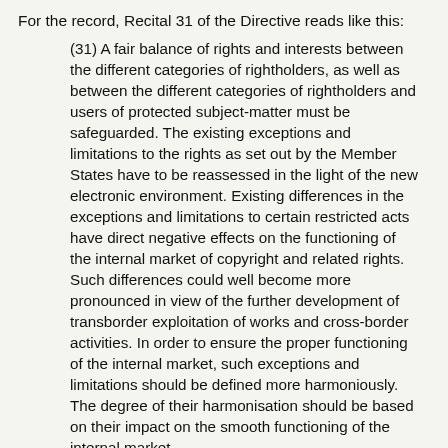For the record, Recital 31 of the Directive reads like this:
(31) A fair balance of rights and interests between the different categories of rightholders, as well as between the different categories of rightholders and users of protected subject-matter must be safeguarded. The existing exceptions and limitations to the rights as set out by the Member States have to be reassessed in the light of the new electronic environment. Existing differences in the exceptions and limitations to certain restricted acts have direct negative effects on the functioning of the internal market of copyright and related rights. Such differences could well become more pronounced in view of the further development of transborder exploitation of works and cross-border activities. In order to ensure the proper functioning of the internal market, such exceptions and limitations should be defined more harmoniously. The degree of their harmonisation should be based on their impact on the smooth functioning of the internal market.